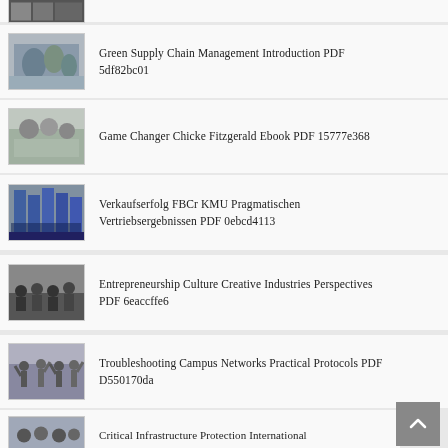Green Supply Chain Management Introduction PDF 5df82bc01
Game Changer Chicke Fitzgerald Ebook PDF 15777e368
Verkaufserfolg FBCr KMU Pragmatischen Vertriebsergebnissen PDF 0ebcd4113
Entrepreneurship Culture Creative Industries Perspectives PDF 6eaccffe6
Troubleshooting Campus Networks Practical Protocols PDF D550170da
Infonomics Monetize Information Competitive Advantage PDF 67b778256
Critical Infrastructure Protection International